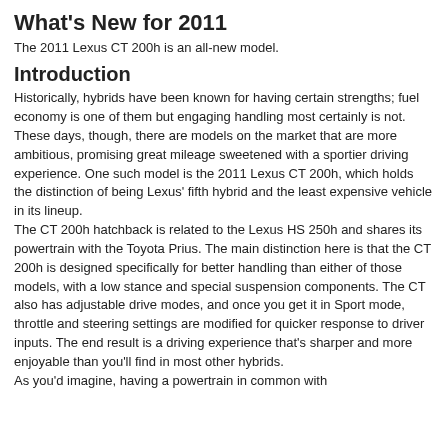What's New for 2011
The 2011 Lexus CT 200h is an all-new model.
Introduction
Historically, hybrids have been known for having certain strengths; fuel economy is one of them but engaging handling most certainly is not. These days, though, there are models on the market that are more ambitious, promising great mileage sweetened with a sportier driving experience. One such model is the 2011 Lexus CT 200h, which holds the distinction of being Lexus' fifth hybrid and the least expensive vehicle in its lineup.
The CT 200h hatchback is related to the Lexus HS 250h and shares its powertrain with the Toyota Prius. The main distinction here is that the CT 200h is designed specifically for better handling than either of those models, with a low stance and special suspension components. The CT also has adjustable drive modes, and once you get it in Sport mode, throttle and steering settings are modified for quicker response to driver inputs. The end result is a driving experience that's sharper and more enjoyable than you'll find in most other hybrids.
As you'd imagine, having a powertrain in common with